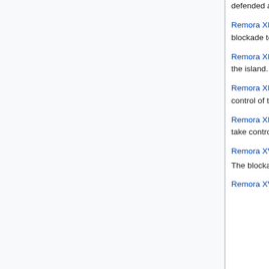defended against Royal Flush in a three round non-sinking blockade.
Remora XI - 2009-10-31, poe chums defeated Blood and Roses and The Black Sheep in a four round sinking blockade to take control of the island. Lunar Bin did not defend.
Remora XII - 2009-11-07, Fallen defeated poe chums in a three round non-sinking blockade to take control of the island.
Remora XIII - 2010-03-27, Anchor Management defeated Fallen in a three round sinking blockade to take control of the island.
Remora XIV - 2011-02-05, Tyr's Own defeated Anchor Management in a five round non-sinking blockade to take control of the island.
Remora XV - 2011-02-19, the Brigand King Azarbad the Great defeated Tyr's Own to take control of the island. The blockade was run as an event by Tyr's Own, with no formal defense mounted.[4]
Remora XVI - 2011-03-06, Menaces defeated Azarbad the Great and Drop the Coin to take